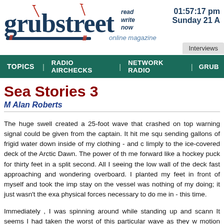[Figure (logo): Grubstreet online magazine logo with red and blue pen/quill decoration and tagline 'read write now']
01:57:17 pm
Sunday 21 A
Interviews
TOPICS | RADIO AIRCHECKS | NETWORK RADIO | GRUB
Sea Stories 3
M Alan Roberts
The huge swell created a 25-foot wave that crashed on top warning signal could be given from the captain. It hit me squ sending gallons of frigid water down inside of my clothing - and limply to the ice-covered deck of the Arctic Dawn. The power of th me forward like a hockey puck for thirty feet in a split second. All I seeing the low wall of the deck fast approaching and wondering overboard. I planted my feet in front of myself and took the imp stay on the vessel was nothing of my doing; it just wasn't the exa physical forces necessary to do me in - this time.
Immediately , I was spinning around while standing up and scann It seems I had taken the worst of this particular wave as they w motion towards me. Meeting eyes, we all instantly sensed tha alright , said a few choice words, re-gathered our sea legs and s